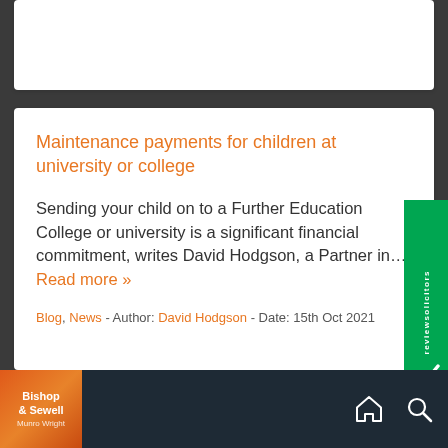Maintenance payments for children at university or college
Sending your child on to a Further Education College or university is a significant financial commitment, writes David Hodgson, a Partner in... Read more »
Blog, News - Author: David Hodgson - Date: 15th Oct 2021
Bishop & Sewell — Munro Wright